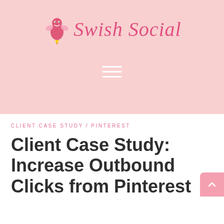Swish Social
CLIENT CASE STUDY / PINTEREST
Client Case Study: Increase Outbound Clicks from Pinterest